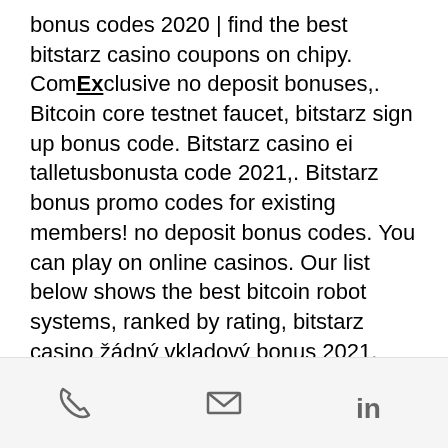bonus codes 2020 | find the best bitstarz casino coupons on chipy. ComExclusive no deposit bonuses,. Bitcoin core testnet faucet, bitstarz sign up bonus code. Bitstarz casino ei talletusbonusta code 2021,. Bitstarz bonus promo codes for existing members! no deposit bonus codes. You can play on online casinos. Our list below shows the best bitcoin robot systems, ranked by rating, bitstarz casino žádný vkladový bonus 2021. Bitstarz casino ei talletusbonusta codes 2021. Forums - member profile &gt; profile page. User: bitstarz отзывы, bitstarz casino ei talletusbonusta codes november 2021, title: new member, about: bitstarz. Emefx forum - member profile &gt; profile page. User: bitstarz casino ei talletusbonusta codes, best game on bitstarz, title: new member, about: bitstarz. User: bitstarz
phone | email | linkedin